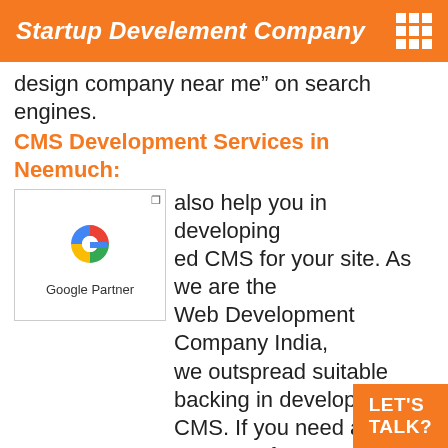Startup Develement Company
design company near me” on search engines.
CMS Development Services in Neemuch:
[Figure (logo): Google Partner logo with colorful G icon and 'Google Partner' text]
also help you in developing ed CMS for your site. As we are the Web Development Company India, we outspread suitable backing in developing CMS. If you need a company for your website design then just find us by typing “web design company near me” on search.
.net Website Development Services in Neemuch:
We have empowered our consumer by delivering intricate & hefty ventures on time with excessive triumph. We use .NET to create a style in your general application for not only desktop